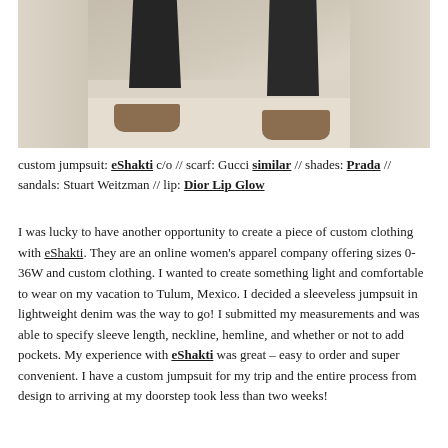[Figure (photo): Photo showing the lower half of a person wearing dark wide-leg trousers and tan/brown sandals, standing on light-colored stairs or steps.]
custom jumpsuit: eShakti c/o // scarf: Gucci similar // shades: Prada // sandals: Stuart Weitzman // lip: Dior Lip Glow
I was lucky to have another opportunity to create a piece of custom clothing with eShakti. They are an online women's apparel company offering sizes 0-36W and custom clothing. I wanted to create something light and comfortable to wear on my vacation to Tulum, Mexico. I decided a sleeveless jumpsuit in lightweight denim was the way to go! I submitted my measurements and was able to specify sleeve length, neckline, hemline, and whether or not to add pockets. My experience with eShakti was great – easy to order and super convenient. I have a custom jumpsuit for my trip and the entire process from design to arriving at my doorstep took less than two weeks!